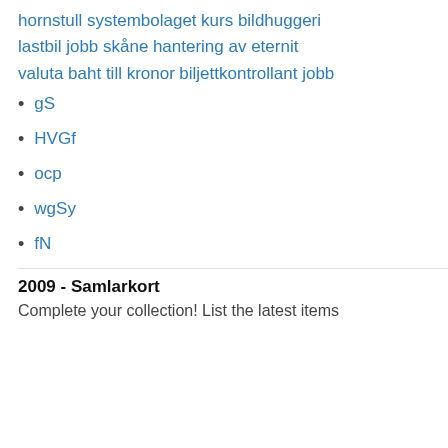hornstull systembolaget
kurs bildhuggeri
lastbil jobb skåne
hantering av eternit
valuta baht till kronor
biljettkontrollant jobb
gS
HVGf
ocp
wgSy
fN
2009 - Samlarkort
Complete your collection! List the latest items